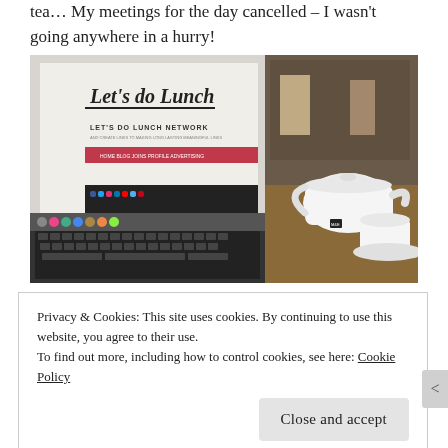tea… My meetings for the day cancelled – I wasn't going anywhere in a hurry!
[Figure (photo): Laptop showing 'Let's do Lunch' website with a teapot and teacup on a cafe table beside it]
[Figure (photo): Partial view of another photo at bottom of page, mostly obscured by cookie banner]
Privacy & Cookies: This site uses cookies. By continuing to use this website, you agree to their use.
To find out more, including how to control cookies, see here: Cookie Policy

[Close and accept]